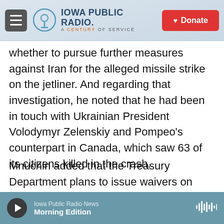Iowa Public Radio — A Century of Service | Donate
whether to pursue further measures against Iran for the alleged missile strike on the jetliner. And regarding that investigation, he noted that he had been in touch with Ukrainian President Volodymyr Zelenskiy and Pompeo's counterpart in Canada, which saw 63 of its citizens killed in the crash.
Mnuchin added that the Treasury Department plans to issue waivers on sanctions to allow the National Transportation Safety Board — and any other individuals or agencies "that can help facilitate the investigation" — to work with Iran on the probe.
Iowa Public Radio News — Morning Edition